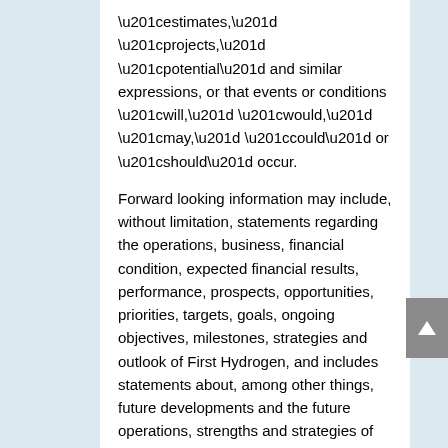“estimates,” “projects,” “potential” and similar expressions, or that events or conditions “will,” “would,” “may,” “could” or “should” occur. Forward looking information may include, without limitation, statements regarding the operations, business, financial condition, expected financial results, performance, prospects, opportunities, priorities, targets, goals, ongoing objectives, milestones, strategies and outlook of First Hydrogen, and includes statements about, among other things, future developments and the future operations, strengths and strategies of First Hydrogen. Forward looking information is